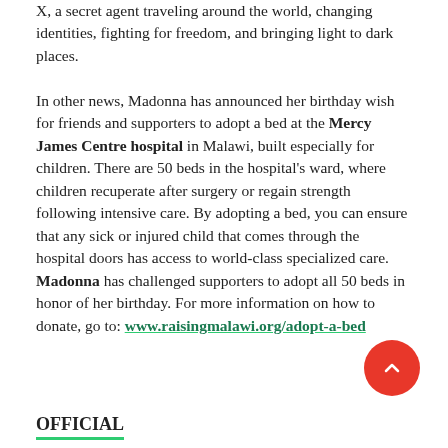X, a secret agent traveling around the world, changing identities, fighting for freedom, and bringing light to dark places.
In other news, Madonna has announced her birthday wish for friends and supporters to adopt a bed at the Mercy James Centre hospital in Malawi, built especially for children. There are 50 beds in the hospital's ward, where children recuperate after surgery or regain strength following intensive care. By adopting a bed, you can ensure that any sick or injured child that comes through the hospital doors has access to world-class specialized care. Madonna has challenged supporters to adopt all 50 beds in honor of her birthday. For more information on how to donate, go to: www.raisingmalawi.org/adopt-a-bed
OFFICIAL